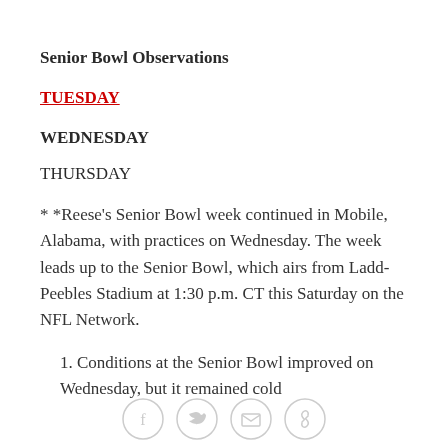Senior Bowl Observations
TUESDAY
WEDNESDAY
THURSDAY
* *Reese's Senior Bowl week continued in Mobile, Alabama, with practices on Wednesday. The week leads up to the Senior Bowl, which airs from Ladd-Peebles Stadium at 1:30 p.m. CT this Saturday on the NFL Network.
1. Conditions at the Senior Bowl improved on Wednesday, but it remained cold